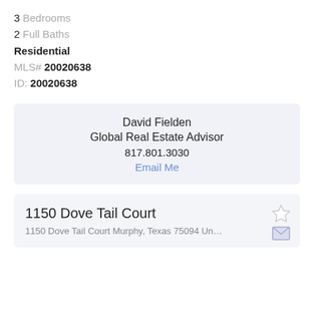3 Bedrooms
2 Full Baths
Residential
MLS# 20020638
ID: 20020638
David Fielden
Global Real Estate Advisor
817.801.3030
Email Me
1150 Dove Tail Court
1150 Dove Tail Court Murphy, Texas 75094 Un…